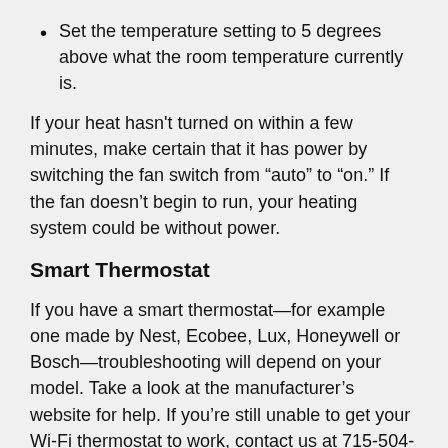Set the temperature setting to 5 degrees above what the room temperature currently is.
If your heat hasn't turned on within a few minutes, make certain that it has power by switching the fan switch from “auto” to “on.” If the fan doesn’t begin to run, your heating system could be without power.
Smart Thermostat
If you have a smart thermostat—for example one made by Nest, Ecobee, Lux, Honeywell or Bosch—troubleshooting will depend on your model. Take a look at the manufacturer’s website for help. If you’re still unable to get your Wi-Fi thermostat to work, contact us at 715-504-0533 for heating and cooling service.